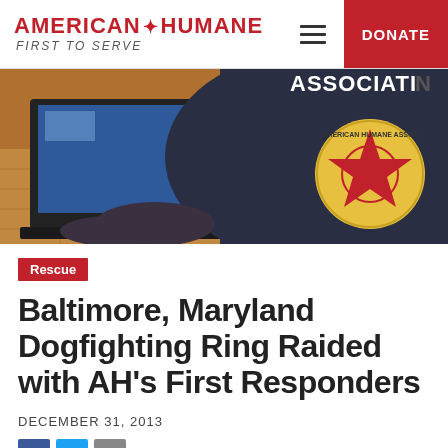AMERICAN HUMANE FIRST TO SERVE
[Figure (photo): Person wearing a dark navy American Humane Association sweatshirt with the circular logo (red star on yellow background), sitting in front of a laptop computer. Tile floor visible in background.]
Rescue
Baltimore, Maryland Dogfighting Ring Raided with AH's First Responders
DECEMBER 31, 2013